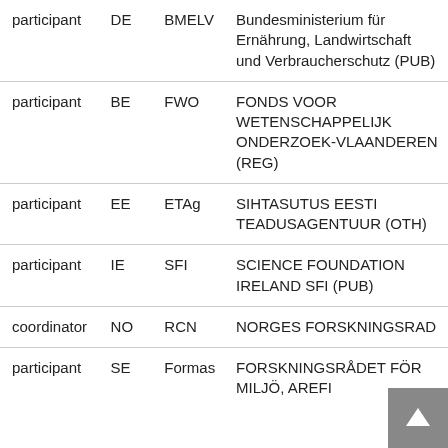| role | country | short name | full name |
| --- | --- | --- | --- |
| participant | DE | BMELV | Bundesministerium für Ernährung, Landwirtschaft und Verbraucherschutz (PUB) |
| participant | BE | FWO | FONDS VOOR WETENSCHAPPELIJK ONDERZOEK-VLAANDEREN (REG) |
| participant | EE | ETAg | SIHTASUTUS EESTI TEADUSAGENTUUR (OTH) |
| participant | IE | SFI | SCIENCE FOUNDATION IRELAND SFI (PUB) |
| coordinator | NO | RCN | NORGES FORSKNINGSRAD |
| participant | SE | Formas | FORSKNINGSRÅDET FÖR MILJÖ, AREFI… |